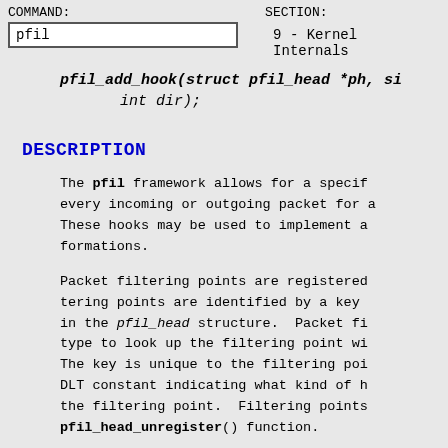COMMAND: pfil   SECTION: 9 - Kernel Internals
pfil_add_hook(struct pfil_head *ph, si
        int dir);
DESCRIPTION
The pfil framework allows for a specif every incoming or outgoing packet for a These hooks may be used to implement a formations.
Packet filtering points are registered tering points are identified by a key in the pfil_head structure. Packet fi type to look up the filtering point wi The key is unique to the filtering poi DLT constant indicating what kind of h the filtering point. Filtering points pfil_head_unregister() function.
Packet filters register/unregister the the pfil_add_hook() and pfil_remove_ho head is looked up using the pfil_head_